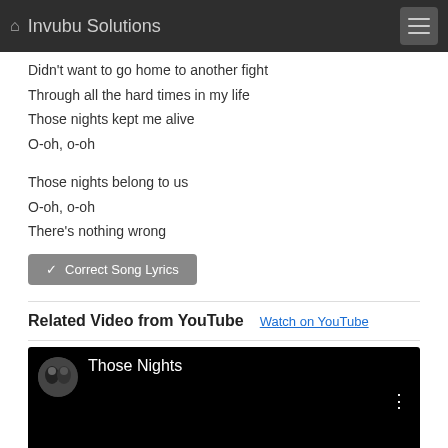Invubu Solutions
Didn't want to go home to another fight
Through all the hard times in my life
Those nights kept me alive
O-oh, o-oh
Those nights belong to us
O-oh, o-oh
There's nothing wrong
✓ Correct Song Lyrics
Related Video from YouTube
Watch on YouTube
[Figure (screenshot): YouTube video thumbnail showing 'Those Nights' with dark background, circular artist avatar, title text, and three-dot menu icon]